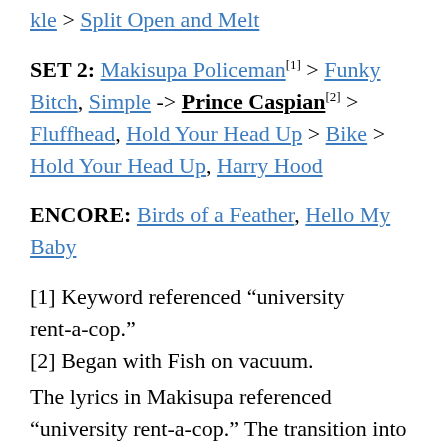kle > Split Open and Melt
SET 2: Makisupa Policeman[1] > Funky Bitch, Simple -> Prince Caspian[2] > Fluffhead, Hold Your Head Up > Bike > Hold Your Head Up, Harry Hood
ENCORE: Birds of a Feather, Hello My Baby
[1] Keyword referenced “university rent-a-cop.”
[2] Began with Fish on vacuum.
The lyrics in Makisupa referenced “university rent-a-cop.” The transition into Caspian featured Fish on vacuum. During Caspian, a naked man jumped on stage and was kicked off by security.